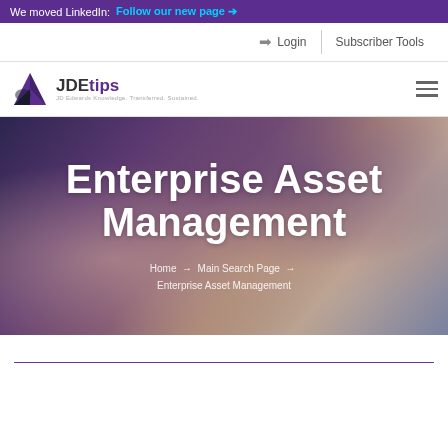We moved LinkedIn: Follow our new page →
Login | Subscriber Tools
[Figure (logo): JDEtips logo — JDE in dark text, tips in purple, with tagline 'JD Edwards Knowledge. Transferred. Sustained.' and a triangular icon]
Enterprise Asset Management
Home → Main Search Page → Enterprise Asset Management